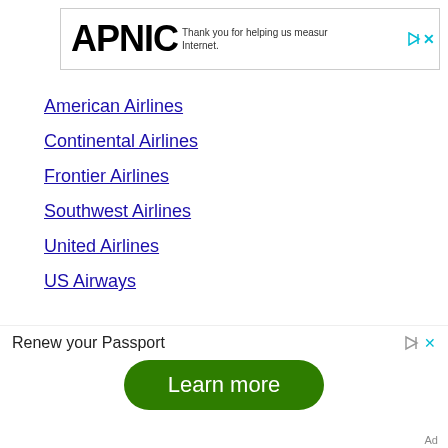[Figure (logo): APNIC logo with ad controls and text: Thank you for helping us measure the Internet.]
American Airlines
Continental Airlines
Frontier Airlines
Southwest Airlines
United Airlines
US Airways
[Figure (infographic): Ad banner: Renew your Passport with a green Learn more button]
Ad